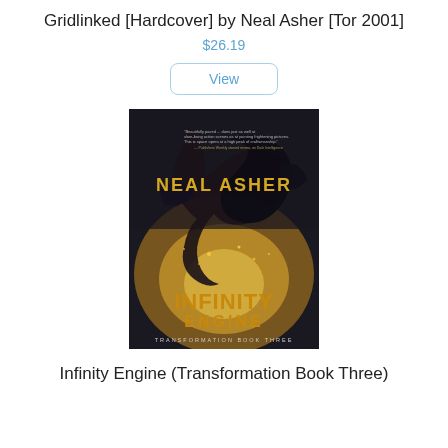Gridlinked [Hardcover] by Neal Asher [Tor 2001]
$26.19
View
[Figure (photo): Book cover of 'Infinity Engine' by Neal Asher, Transformation Book Three. Dark sci-fi cover with a large mechanical creature against an explosive golden background. Text: NEAL ASHER in gold, INFINITY ENGINE in large gold letters, TRANSFORMATION BOOK THREE in smaller text at bottom.]
Infinity Engine (Transformation Book Three)